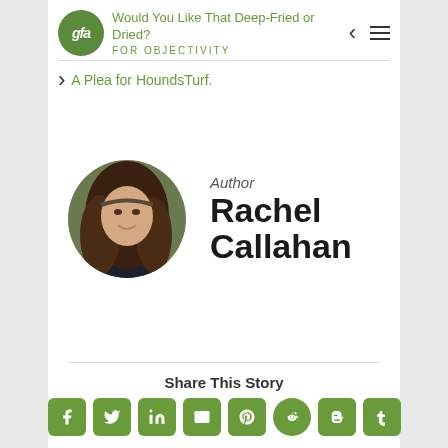Would You Like That Deep-Fried or Dried? | A Plea for HoundsTurf.
[Figure (photo): Circular portrait photo of Rachel Callahan, a woman with long brown hair, smiling outdoors]
Author
Rachel Callahan
Share This Story
[Figure (infographic): Row of social media sharing icons: Facebook, Twitter, LinkedIn, Email, Pinterest, Reddit, Blogger, Tumblr]